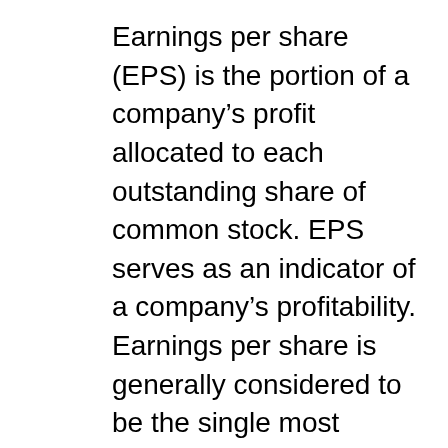Earnings per share (EPS) is the portion of a company's profit allocated to each outstanding share of common stock. EPS serves as an indicator of a company's profitability. Earnings per share is generally considered to be the single most important variable in determining a share's price. It is also a major component used to calculate the price-to-earnings valuation ratio.
All index data from FactSet.
Please read the full Midyear Outlook